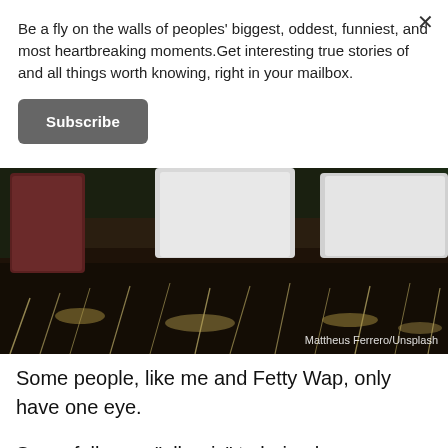Be a fly on the walls of peoples' biggest, oddest, funniest, and most heartbreaking moments.Get interesting true stories of and all things worth knowing, right in your mailbox.
Subscribe
[Figure (photo): Outdoor photo showing people crouching/kneeling on dark soil ground with dry grass, wearing white and red shirts, viewed from behind. Credit: Mattheus Ferrero/Unsplash]
Mattheus Ferrero/Unsplash
Some people, like me and Fetty Wap, only have one eye.
Some folks are "allergic" to being hungry or full.
Some people have visible limb differences that